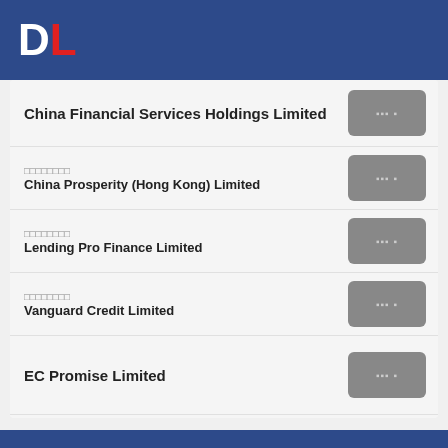DL
China Financial Services Holdings Limited
中國財務服務控股有限公司
China Prosperity (Hong Kong) Limited
泰霖財務有限公司
Lending Pro Finance Limited
先鋒信用有限公司
Vanguard Credit Limited
EC Promise Limited
阿姆斯壯亞洲財務有限公司
Armstrong Asia Finance Limited
義天有限公司
Yee Tin Limited
皇朝資本顧問有限公司
Royal Capital Consulting Limited